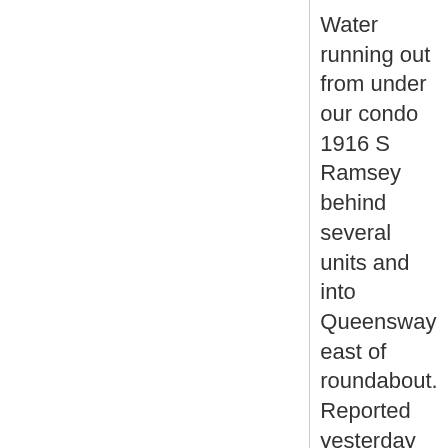Water running out from under our condo 1916 S Ramsey behind several units and into Queensway east of roundabout. Reported yesterday and assigned to Michael Chase. We have not heard from him. turned off water in house but